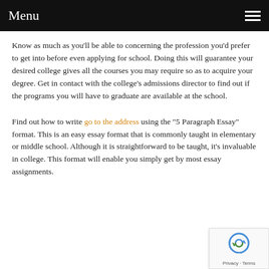Menu
Know as much as you'll be able to concerning the profession you'd prefer to get into before even applying for school. Doing this will guarantee your desired college gives all the courses you may require so as to acquire your degree. Get in contact with the college's admissions director to find out if the programs you will have to graduate are available at the school.
Find out how to write go to the address using the "5 Paragraph Essay" format. This is an easy essay format that is commonly taught in elementary or middle school. Although it is straightforward to be taught, it's invaluable in college. This format will enable you simply get by most essay assignments.